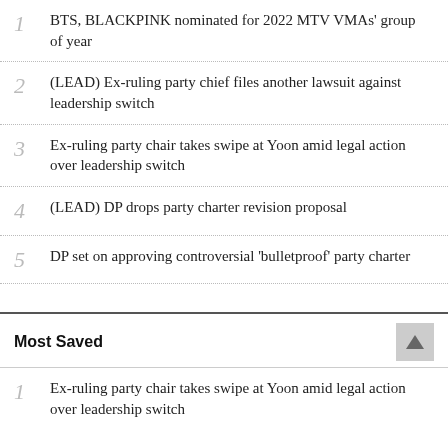1 BTS, BLACKPINK nominated for 2022 MTV VMAs' group of year
2 (LEAD) Ex-ruling party chief files another lawsuit against leadership switch
3 Ex-ruling party chair takes swipe at Yoon amid legal action over leadership switch
4 (LEAD) DP drops party charter revision proposal
5 DP set on approving controversial 'bulletproof' party charter
Most Saved
1 Ex-ruling party chair takes swipe at Yoon amid legal action over leadership switch